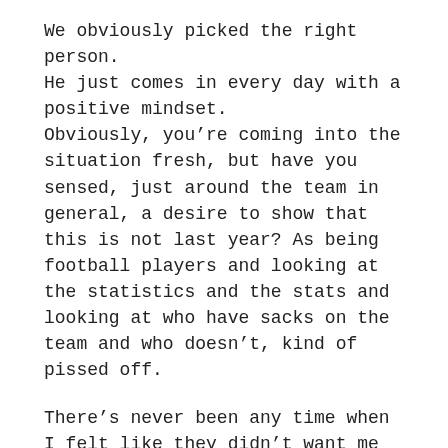We obviously picked the right person. He just comes in every day with a positive mindset. Obviously, you’re coming into the situation fresh, but have you sensed, just around the team in general, a desire to show that this is not last year? As being football players and looking at the statistics and the stats and looking at who have sacks on the team and who doesn’t, kind of pissed off.
There’s never been any time when I felt like they didn’t want me here or I felt like I didn’t want to be here.
Minkah , he’s a ballhawk.
And then, with WR James Proche, we hear a lot